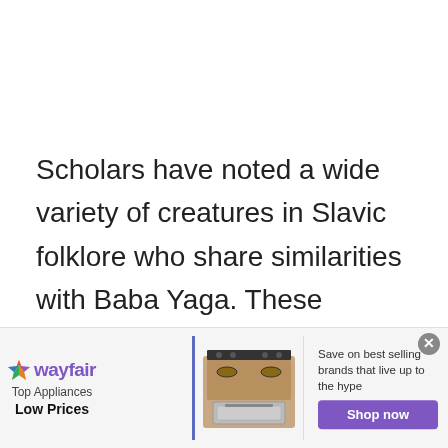Scholars have noted a wide variety of creatures in Slavic folklore who share similarities with Baba Yaga. These similarities are no doubt borne of relations and cultural exchange between the Eastern Slavs and surrounding peoples. In Central and Eastern Europe, these creatures include the Bulgarian gorska
[Figure (other): Wayfair advertisement banner: Top Appliances Low Prices. Shows a stove/range appliance image. Save on best selling brands that live up to the hype. Shop now button.]